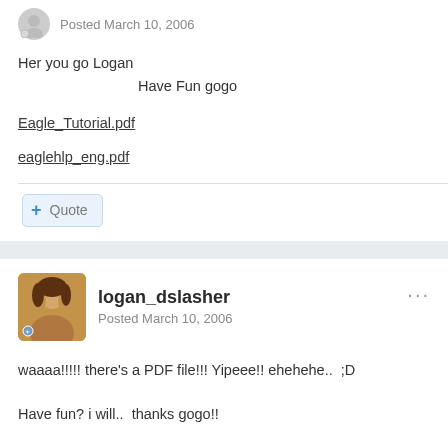Posted March 10, 2006
Her you go Logan
        Have Fun gogo
Eagle_Tutorial.pdf
eaglehlp_eng.pdf
Quote
logan_dslasher
Posted March 10, 2006
waaaa!!!!! there's a PDF file!!! Yipeee!! ehehehe..  ;D
Have fun? i will..  thanks gogo!!